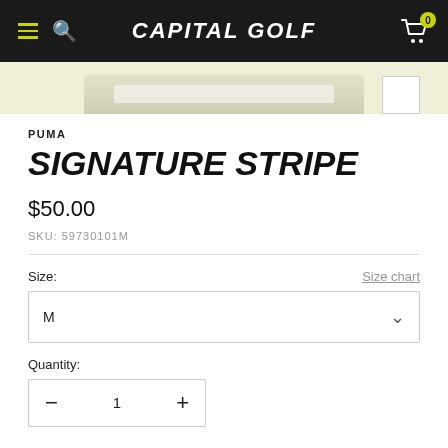CAPITAL GOLF
[Figure (photo): Partial product image on light yellow background]
PUMA
SIGNATURE STRIPE
$50.00
SKU: 59730101M
Size:
Size chart
M
Quantity:
— 1 +